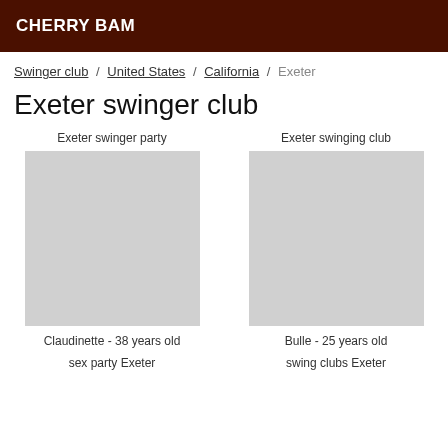CHERRY BAM
Swinger club / United States / California / Exeter
Exeter swinger club
Exeter swinger party
Exeter swinging club
Claudinette - 38 years old
Bulle - 25 years old
sex party Exeter
swing clubs Exeter